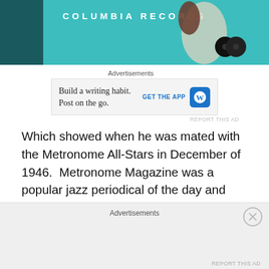[Figure (illustration): Columbia Records banner with teal/dark teal background and white lettering]
Advertisements
[Figure (screenshot): Advertisement: Build a writing habit. Post on the go. GET THE APP [WordPress logo]]
REPORT THIS AD
Which showed when he was mated with the Metronome All-Stars in December of 1946.  Metronome Magazine was a popular jazz periodical of the day and conducted more-or-less annual polls where readers voted on top musicians for various instruments.  The winners would be brought together for a couple of recordings which usually allowed each a bit of solo time – sort of like an All-Star game for
Advertisements
REPORT THIS AD